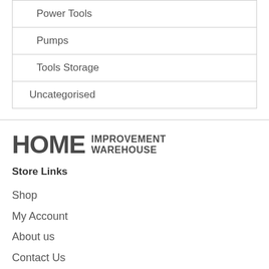| Power Tools |
| Pumps |
| Tools Storage |
| Uncategorised |
[Figure (logo): Home Improvement Warehouse logo with large HOME text and IMPROVEMENT WAREHOUSE stacked on the right]
Store Links
Shop
My Account
About us
Contact Us